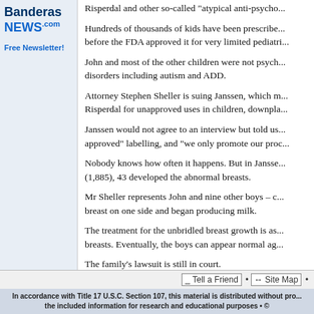[Figure (logo): Banderas NEWS logo in blue and dark blue text]
Free Newsletter!
Risperdal and other so-called "atypical anti-psycho...
Hundreds of thousands of kids have been prescribe... before the FDA approved it for very limited pediatri...
John and most of the other children were not psych... disorders including autism and ADD.
Attorney Stephen Sheller is suing Janssen, which m... Risperdal for unapproved uses in children, downpla...
Janssen would not agree to an interview but told us... approved" labelling, and "we only promote our proc...
Nobody knows how often it happens. But in Jansse... (1,885), 43 developed the abnormal breasts.
Mr Sheller represents John and nine other boys – c... breast on one side and began producing milk.
The treatment for the unbridled breast growth is as... breasts. Eventually, the boys can appear normal ag...
The family's lawsuit is still in court.
But John's mother says surgery did not fix all of the...
When asked if John still thinks he's a girl his mothe...
As for Risperdal – it's still on the market. And famili...
Tell a Friend • Site Map •
In accordance with Title 17 U.S.C. Section 107, this material is distributed without pro... the included information for research and educational purposes • ©